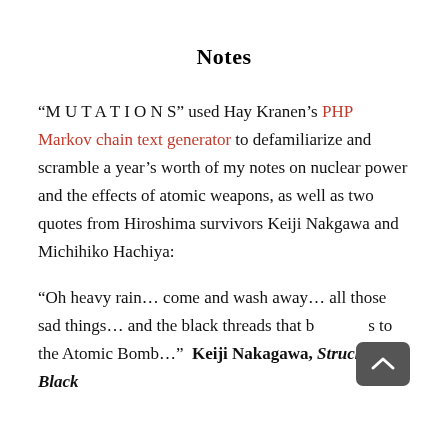Notes
“M U T A T I O N S” used Hay Kranen’s PHP Markov chain text generator to defamiliarize and scramble a year’s worth of my notes on nuclear power and the effects of atomic weapons, as well as two quotes from Hiroshima survivors Keiji Nakgawa and Michihiko Hachiya:
“Oh heavy rain… come and wash away… all those sad things… and the black threads that bind us to the Atomic Bomb…”  Keiji Nakagawa, Struck By Black